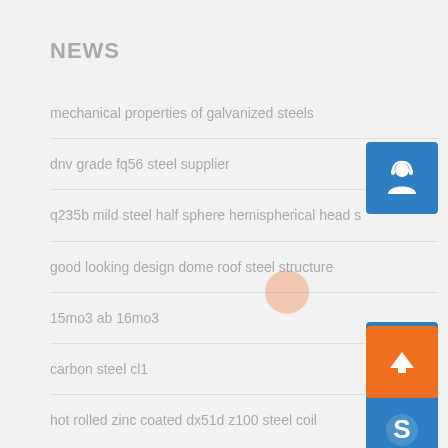NEWS
mechanical properties of galvanized steels
dnv grade fq56 steel supplier
q235b mild steel half sphere hemispherical head s
good looking design dome roof steel structure
15mo3 ab 16mo3
carbon steel cl1
hot rolled zinc coated dx51d z100 steel coil
[Figure (illustration): Customer service icon — person with headset on blue square button]
[Figure (illustration): Phone call icon on blue square button]
[Figure (illustration): Skype icon (S logo) on blue square button]
[Figure (illustration): Orange scroll-to-top arrow button]